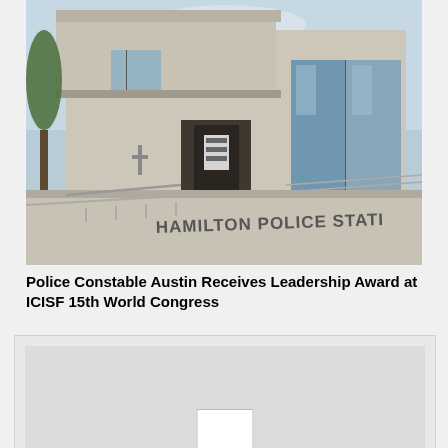[Figure (photo): Exterior photo of Hamilton Police Station building — a beige/white multi-story structure with large windows, an entrance with overhang, and signage reading 'HAMILTON POLICE STATION' on a wall in the foreground.]
Police Constable Austin Receives Leadership Award at ICISF 15th World Congress
[Figure (photo): Partially visible second image, mostly grey/light colored, likely a photo or graphic, with a small white rectangular element visible at the bottom center. The image is partially cut off.]